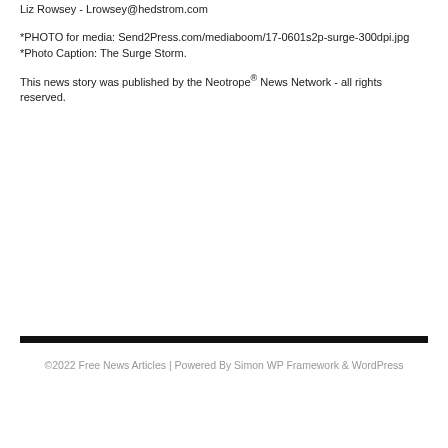Liz Rowsey - Lrowsey@hedstrom.com
*PHOTO for media: Send2Press.com/mediaboom/17-0601s2p-surge-300dpi.jpg
*Photo Caption: The Surge Storm.
This news story was published by the Neotrope® News Network - all rights reserved.
©2022 Free News Articles | Powered By Simon WP Framework & WordPress